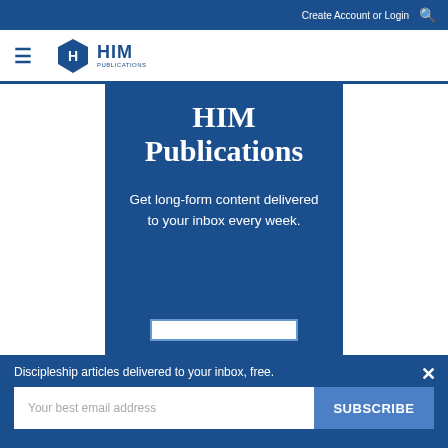Create Account or Login
[Figure (logo): HIM Publications hexagon logo with hamburger menu]
HIM Publications
Get long-form content delivered to your inbox every week.
Discipleship articles delivered to your inbox, free.
Your best email address
SUBSCRIBE